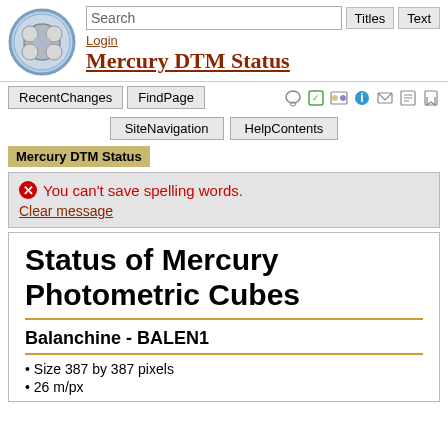[Figure (logo): Mercury DTM wiki logo: circular blue badge with stylized M shape icon]
Search
Titles  Text
Login
Mercury DTM Status
RecentChanges  FindPage  SiteNavigation  HelpContents
Mercury DTM Status
You can't save spelling words.
Clear message
Status of Mercury Photometric Cubes
Balanchine - BALEN1
Size 387 by 387 pixels
26 m/px